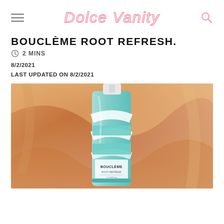Dolce Vanity
BOUCLÈME ROOT REFRESH.
2 MINS
8/2/2021
LAST UPDATED ON 8/2/2021
[Figure (photo): A bottle of Bouclème hair product with teal and white swirl design, photographed against a shiny golden/copper satin fabric background.]